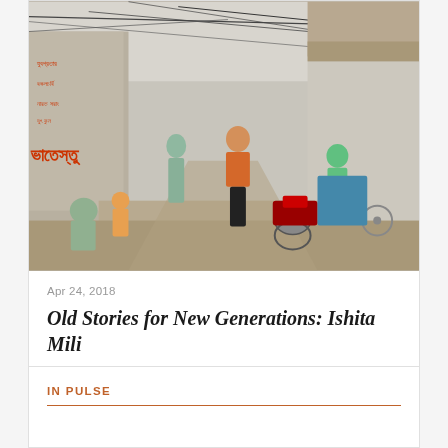[Figure (photo): Street scene in an Indian urban neighborhood (likely Kolkata/West Bengal). A woman in an orange top and black pants walks barefoot on a narrow lane while a group of children and adults watch. Bengali text in red is written on a wall on the left. Overhead electric wires cross the scene. A motorcycle and bicycle are visible in the background.]
Apr 24, 2018
Old Stories for New Generations: Ishita Mili
IN PULSE